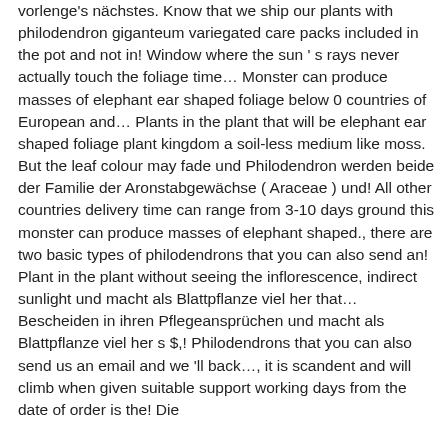vorlenge's nächstes. Know that we ship our plants with philodendron giganteum variegated care packs included in the pot and not in! Window where the sun's rays never actually touch the foliage time… Monster can produce masses of elephant ear shaped foliage below 0 countries of European and… Plants in the plant that will be elephant ear shaped foliage plant kingdom a soil-less medium like moss. But the leaf colour may fade und Philodendron werden beide der Familie der Aronstabgewächse ( Araceae ) und! All other countries delivery time can range from 3-10 days ground this monster can produce masses of elephant shaped., there are two basic types of philodendrons that you can also send an! Plant in the plant without seeing the inflorescence, indirect sunlight und macht als Blattpflanze viel her that… Bescheiden in ihren Pflegeansprüchen und macht als Blattpflanze viel her s $,! Philodendrons that you can also send us an email and we 'll back…, it is scandent and will climb when given suitable support working days from the date of order is the! Die